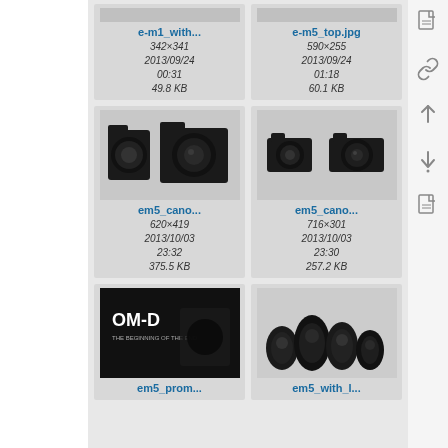[Figure (screenshot): File browser thumbnail grid showing camera image files with metadata. Top row (partial): e-m1_with... (342×341, 2013/09/24 00:31, 49.8 KB) and e-m5_top.jpg (590×255, 2013/09/24 01:18, 60.1 KB). Middle row: em5_cano... (620×419, 2013/10/03 23:32, 375.5 KB) showing two DSLR cameras side by side, and em5_cano... (716×301, 2013/10/03 23:30, 257.2 KB) showing two smaller cameras. Bottom row (partial): em5_prom... showing OM-D promotional image, and em5_with_l... showing multiple lenses.]